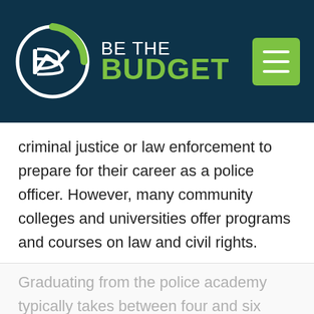[Figure (logo): Be The Budget logo: circular icon with stylized 'B' and chart line, green arc, white circle outline on dark navy background, with 'BE THE BUDGET' text in white and green.]
criminal justice or law enforcement to prepare for their career as a police officer. However, many community colleges and universities offer programs and courses on law and civil rights.
While requirements vary by jurisdiction, most police officer candidates go through the police academy, also known as the Peace Officer Standards and Training (POST).
Graduating from the police academy typically takes between four and six months.